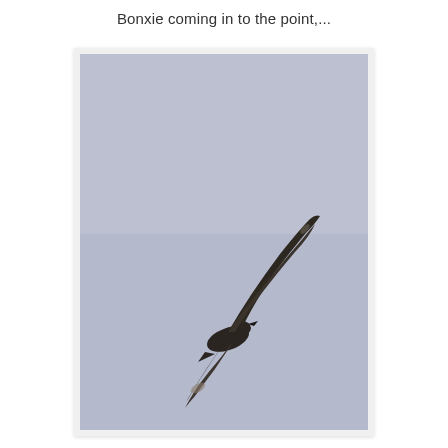Bonxie coming in to the point,...
[Figure (photo): A large dark seabird (Bonxie / Great Skua) photographed in flight against a grey-blue sky, wings outstretched and angled, viewed slightly from below. The bird is centrally positioned in a portrait-format photograph with a white border frame.]